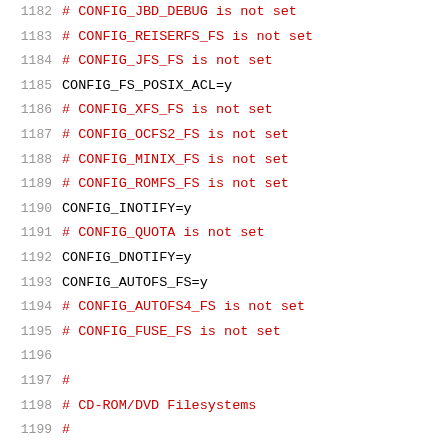1182    # CONFIG_JBD_DEBUG is not set
1183    # CONFIG_REISERFS_FS is not set
1184    # CONFIG_JFS_FS is not set
1185    CONFIG_FS_POSIX_ACL=y
1186    # CONFIG_XFS_FS is not set
1187    # CONFIG_OCFS2_FS is not set
1188    # CONFIG_MINIX_FS is not set
1189    # CONFIG_ROMFS_FS is not set
1190    CONFIG_INOTIFY=y
1191    # CONFIG_QUOTA is not set
1192    CONFIG_DNOTIFY=y
1193    CONFIG_AUTOFS_FS=y
1194    # CONFIG_AUTOFS4_FS is not set
1195    # CONFIG_FUSE_FS is not set
1196
1197    #
1198    # CD-ROM/DVD Filesystems
1199    #
1200    CONFIG_ISO9660_FS=y
1201    CONFIG_JOLIET=y
1202    # CONFIG_ZISOFS is not set